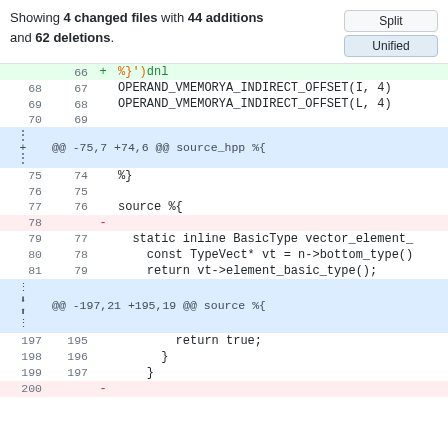Showing 4 changed files with 44 additions and 62 deletions.
[Figure (screenshot): Unified diff view of code changes showing added/deleted lines with line numbers and hunk headers]
66  +  %}`)dnl
68 67    OPERAND_VMEMORYA_INDIRECT_OFFSET(I, 4)
69 68    OPERAND_VMEMORYA_INDIRECT_OFFSET(L, 4)
70 69
@@ -75,7 +74,6 @@ source_hpp %{
75 74    %}
76 75
77 76    source %{
78    -
79 77      static inline BasicType vector_element_
80 78        const TypeVect* vt = n->bottom_type()
81 79        return vt->element_basic_type();
@@ -197,21 +195,19 @@ source %{
197 195        return true;
198 196      }
199 197    }
200    -